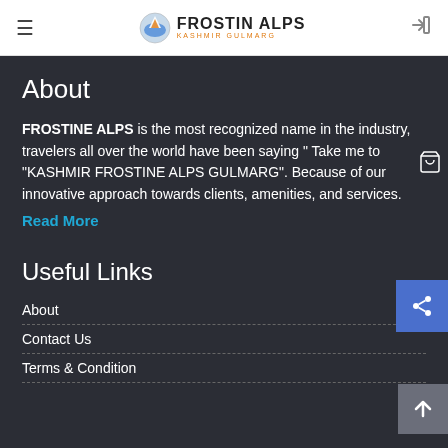FROSTIN ALPS – KASHMIR GULMARG
About
FROSTINE ALPS is the most recognized name in the industry, travelers all over the world have been saying " Take me to "KASHMIR FROSTINE ALPS GULMARG". Because of our innovative approach towards clients, amenities, and services.
Read More
Useful Links
About
Contact Us
Terms & Condition